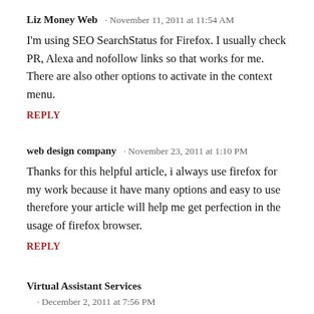Liz Money Web · November 11, 2011 at 11:54 AM
I'm using SEO SearchStatus for Firefox. I usually check PR, Alexa and nofollow links so that works for me. There are also other options to activate in the context menu.
REPLY
web design company · November 23, 2011 at 1:10 PM
Thanks for this helpful article, i always use firefox for my work because it have many options and easy to use therefore your article will help me get perfection in the usage of firefox browser.
REPLY
Virtual Assistant Services · December 2, 2011 at 7:56 PM
I am too into SEO and virtual assistant...